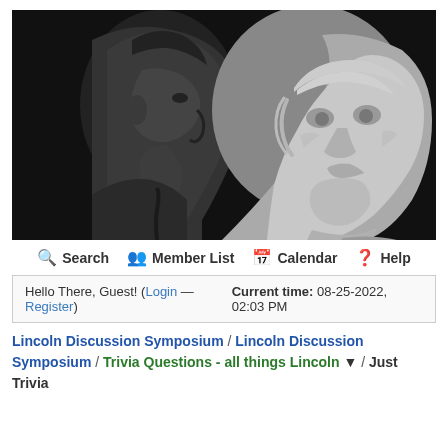[Figure (photo): Black and white composite image showing a profile photograph of Abraham Lincoln on the left side and a white marble/stone bust sculpture of Lincoln facing forward on the right side, against a dark background.]
🔍 Search   👥 Member List   📅 Calendar   ❓ Help
Hello There, Guest! (Login — Register)   Current time: 08-25-2022, 02:03 PM
Lincoln Discussion Symposium / Lincoln Discussion Symposium / Trivia Questions - all things Lincoln ▼ / Just Trivia